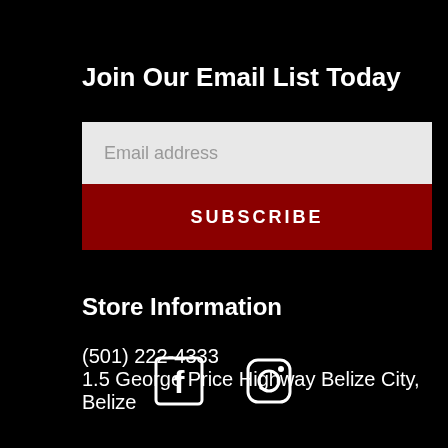Join Our Email List Today
Email address
SUBSCRIBE
Store Information
(501) 222-4333
1.5 George Price Highway Belize City, Belize
[Figure (illustration): Facebook and Instagram social media icons in white on black background]